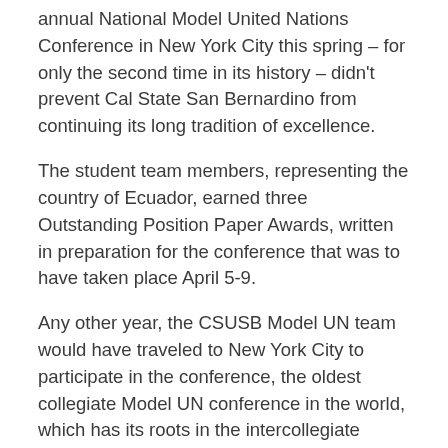annual National Model United Nations Conference in New York City this spring – for only the second time in its history – didn't prevent Cal State San Bernardino from continuing its long tradition of excellence.
The student team members, representing the country of Ecuador, earned three Outstanding Position Paper Awards, written in preparation for the conference that was to have taken place April 5-9.
Any other year, the CSUSB Model UN team would have traveled to New York City to participate in the conference, the oldest collegiate Model UN conference in the world, which has its roots in the intercollegiate Model League of Nations simulation that was held at Syracuse University in 1927. Before the COVID-19 pandemic, the only cancellation was in 1945 when a travel ban was imposed during World War II.
CSUSB is traditionally one of the top programs at